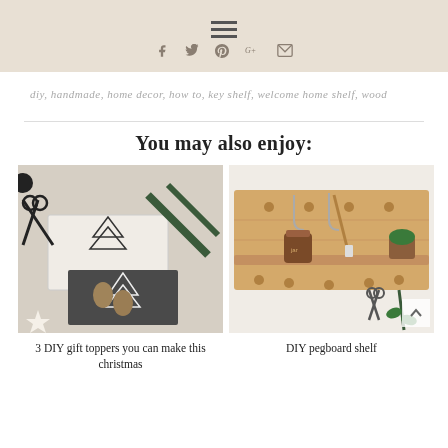Navigation header with hamburger menu and social icons (f, twitter, P, G+, mail)
diy, handmade, home decor, how to, key shelf, welcome home shelf, wood
You may also enjoy:
[Figure (photo): DIY christmas gift wrapping with scissors, pine cones, pine branches and wrapped gifts with hand-drawn tree toppers]
3 DIY gift toppers you can make this christmas
[Figure (photo): DIY pegboard shelf made from light wood with hooks, pegs, hanging scissors, brush, jar and small plant]
DIY pegboard shelf